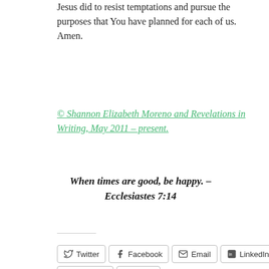Jesus did to resist temptations and pursue the purposes that You have planned for each of us. Amen.
© Shannon Elizabeth Moreno and Revelations in Writing, May 2011 – present.
When times are good, be happy. – Ecclesiastes 7:14
[Figure (other): Social share buttons: Twitter, Facebook, Email, LinkedIn, Pinterest, More]
Loading...